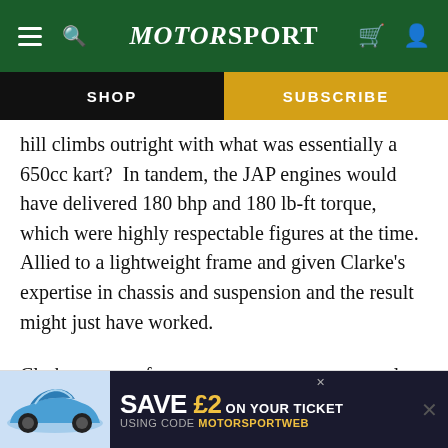Motor Sport
SHOP | SUBSCRIBE
hill climbs outright with what was essentially a 650cc kart?  In tandem, the JAP engines would have delivered 180 bhp and 180 lb-ft torque, which were highly respectable figures at the time. Allied to a lightweight frame and given Clarke's expertise in chassis and suspension and the result might just have worked.
Clarke went so far as to construct a quarter scale model in balsa wood and drawings were made from the model. His aim was to build a perfect... ant tube... m
[Figure (screenshot): Advertisement banner: blue Porsche 911 car image on left, dark background with 'SAVE £2 ON YOUR TICKET USING CODE MOTORSPORTWEB' text on right, with close button X]